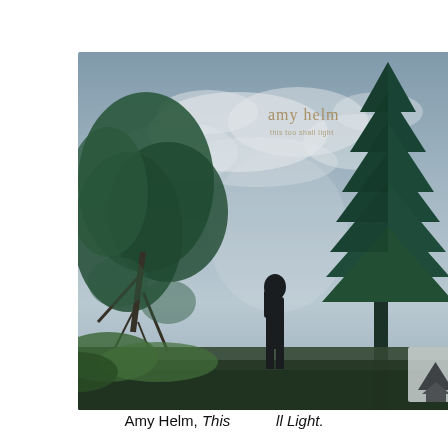[Figure (photo): Album cover for Amy Helm 'This Too Shall Light'. A person stands on a surface outdoors between two large trees — a leafy tree on the left and a tall evergreen/pine on the right — against a dramatic cloudy sky. The artist name 'amy helm' and subtitle text appear in muted gold/brown lettering in the upper-center of the image. A small arrow/navigation icon appears in the lower-right corner of the image.]
Amy Helm, This Too Shall Light.